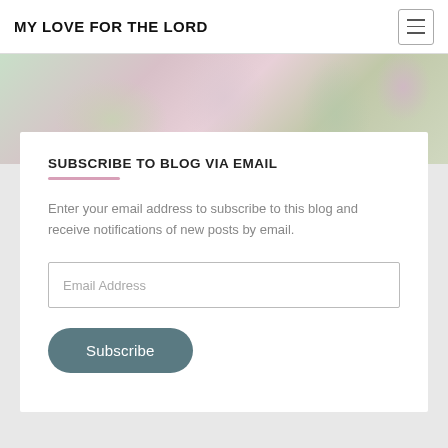MY LOVE FOR THE LORD
[Figure (photo): Floral banner image with soft pink, white, and green flowers]
SUBSCRIBE TO BLOG VIA EMAIL
Enter your email address to subscribe to this blog and receive notifications of new posts by email.
Email Address
Subscribe